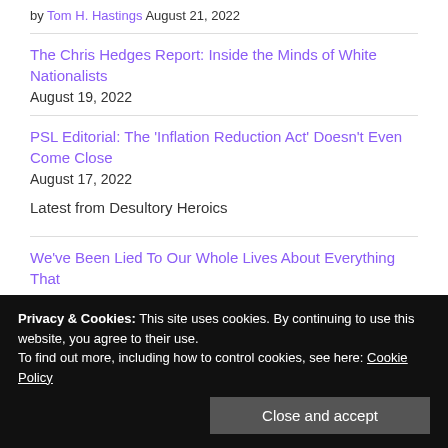by Tom H. Hastings August 21, 2022
The Chris Hedges Report: Inside the Minds of White Nationalists August 19, 2022
PSL Editorial: The 'Inflation Reduction Act' Doesn't Even Come Close August 17, 2022
Latest from Desultory Heroics
We've Been Lied To Our Whole Lives About Everything That
Privacy & Cookies: This site uses cookies. By continuing to use this website, you agree to their use. To find out more, including how to control cookies, see here: Cookie Policy
Close and accept